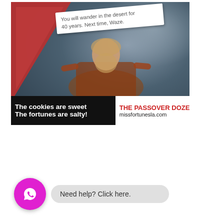[Figure (illustration): Humorous fortune cookie advertisement. Background shows a bearded Moses-like figure in red robes with arms outstretched against a dramatic cloudy sky. In the upper left is a large red triangle shape. A white fortune slip reads: 'You will wander in the desert for 40 years. Next time, Waze.' At the bottom is a black banner with white bold text: 'The cookies are sweet / The fortunes are salty!' and beside it on white: 'THE PASSOVER DOZEN' in red and 'missfortunesla.com' in black.]
Need help? Click here.